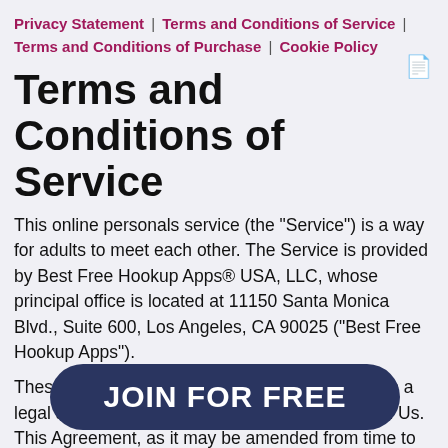Privacy Statement | Terms and Conditions of Service | Terms and Conditions of Purchase | Cookie Policy
Terms and Conditions of Service
This online personals service (the "Service") is a way for adults to meet each other. The Service is provided by Best Free Hookup Apps® USA, LLC, whose principal office is located at 11150 Santa Monica Blvd., Suite 600, Los Angeles, CA 90025 ("Best Free Hookup Apps").
These Terms and Conditions of Service constitute a legal agreement ("Agreement") between You and Us. This Agreement, as it may be amended from time to time, applies to a [site, including but not] m, 100[...] [d including any
[Figure (other): Dark navy blue rounded rectangle button with white bold text reading JOIN FOR FREE]